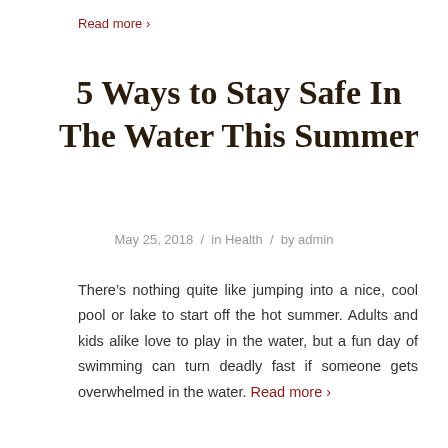Read more ›
5 Ways to Stay Safe In The Water This Summer
May 25, 2018 / in Health / by admin
There's nothing quite like jumping into a nice, cool pool or lake to start off the hot summer. Adults and kids alike love to play in the water, but a fun day of swimming can turn deadly fast if someone gets overwhelmed in the water. Read more ›